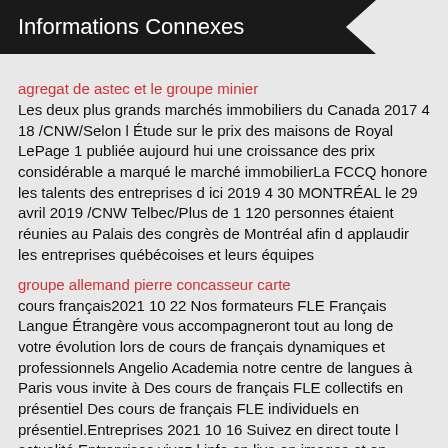Informations Connexes
agregat de astec et le groupe minier
Les deux plus grands marchés immobiliers du Canada 2017 4 18 /CNW/Selon l Étude sur le prix des maisons de Royal LePage 1 publiée aujourd hui une croissance des prix considérable a marqué le marché immobilierLa FCCQ honore les talents des entreprises d ici 2019 4 30 MONTRÉAL le 29 avril 2019 /CNW Telbec/Plus de 1 120 personnes étaient réunies au Palais des congrès de Montréal afin d applaudir les entreprises québécoises et leurs équipes
groupe allemand pierre concasseur carte
cours français2021 10 22 Nos formateurs FLE Français Langue Étrangère vous accompagneront tout au long de votre évolution lors de cours de français dynamiques et professionnels Angelio Academia notre centre de langues à Paris vous invite à Des cours de français FLE collectifs en présentiel Des cours de français FLE individuels en présentiel.Entreprises 2021 10 16 Suivez en direct toute l actualité Entreprises vivez l info en live en images et en vidéos Participez commentez et partager avec Franceinfo